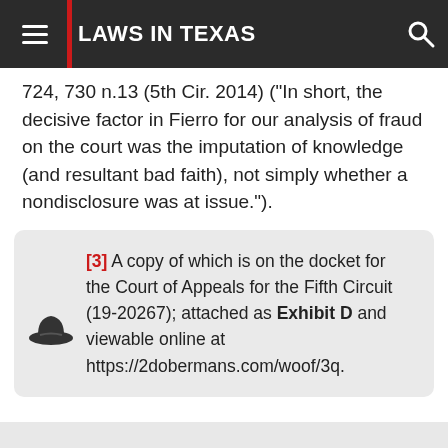LAWS IN TEXAS
724, 730 n.13 (5th Cir. 2014) ("In short, the decisive factor in Fierro for our analysis of fraud on the court was the imputation of knowledge (and resultant bad faith), not simply whether a nondisclosure was at issue.").
[3] A copy of which is on the docket for the Court of Appeals for the Fifth Circuit (19-20267); attached as Exhibit D and viewable online at https://2dobermans.com/woof/3q.